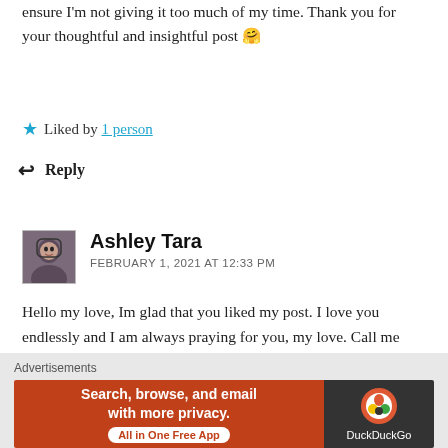ensure I'm not giving it too much of my time. Thank you for your thoughtful and insightful post 🤗
★ Liked by 1 person
↩ Reply
Ashley Tara
FEBRUARY 1, 2021 AT 12:33 PM
Hello my love, Im glad that you liked my post. I love you endlessly and I am always praying for you, my love. Call me whenever
★ Like
Advertisements
[Figure (screenshot): DuckDuckGo advertisement banner: orange left panel with text 'Search, browse, and email with more privacy. All in One Free App' and dark right panel with DuckDuckGo logo and text 'DuckDuckGo']